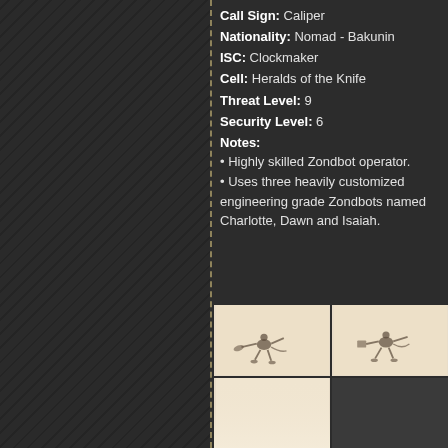Call Sign: Caliper
Nationality: Nomad - Bakunin
ISC: Clockmaker
Cell: Heralds of the Knife
Threat Level: 9
Security Level: 6
Notes:
• Highly skilled Zondbot operator.
• Uses three heavily customized engineering grade Zondbots named Charlotte, Dawn and Isaiah.
[Figure (illustration): Two illustrations of small robotic creatures (Zondbots) in action poses on a beige background]